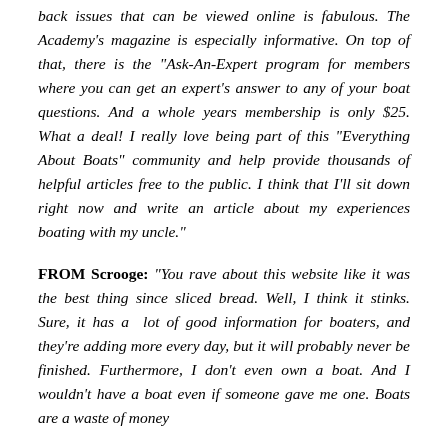back issues that can be viewed online is fabulous. The Academy's magazine is especially informative. On top of that, there is the "Ask-An-Expert program for members where you can get an expert's answer to any of your boat questions. And a whole years membership is only $25. What a deal! I really love being part of this "Everything About Boats" community and help provide thousands of helpful articles free to the public. I think that I'll sit down right now and write an article about my experiences boating with my uncle."
FROM Scrooge: "You rave about this website like it was the best thing since sliced bread. Well, I think it stinks. Sure, it has a lot of good information for boaters, and they're adding more every day, but it will probably never be finished. Furthermore, I don't even own a boat. And I wouldn't have a boat even if someone gave me one. Boats are a waste of money